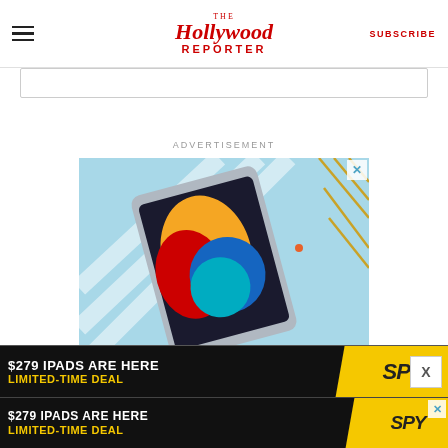The Hollywood Reporter | SUBSCRIBE
[Figure (screenshot): Search bar input field]
ADVERTISEMENT
[Figure (photo): Advertisement showing Apple iPad 9th generation on light blue background with text '$279 IPADS ARE HERE LIMITED-TIME DEAL' and SPY logo on yellow background]
[Figure (screenshot): Second advertisement strip showing '$279 IPADS ARE HERE LIMITED-TIME DEAL' with SPY logo]